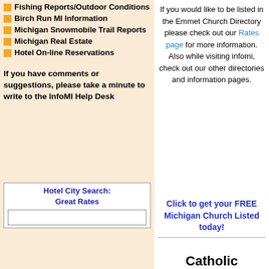Fishing Reports/Outdoor Conditions
Birch Run MI Information
Michigan Snowmobile Trail Reports
Michigan Real Estate
Hotel On-line Reservations
If you have comments or suggestions, please take a minute to write to the InfoMI Help Desk
Hotel City Search: Great Rates
If you would like to be listed in the Emmet Church Directory please check out our Rates page for more information. Also while visiting infomi, check out our other directories and information pages.
Click to get your FREE Michigan Church Listed today!
Catholic